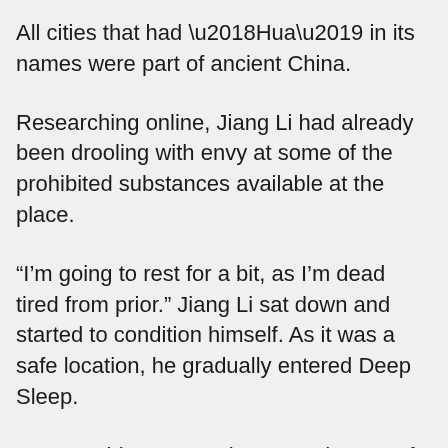All cities that had ‘Hua’ in its names were part of ancient China.
Researching online, Jiang Li had already been drooling with envy at some of the prohibited substances available at the place.
“I’m going to rest for a bit, as I’m dead tired from prior.” Jiang Li sat down and started to condition himself. As it was a safe location, he gradually entered Deep Sleep.
“Damn, able to enter the second stage of Deep Sleep at will? There are no more than ten people at the